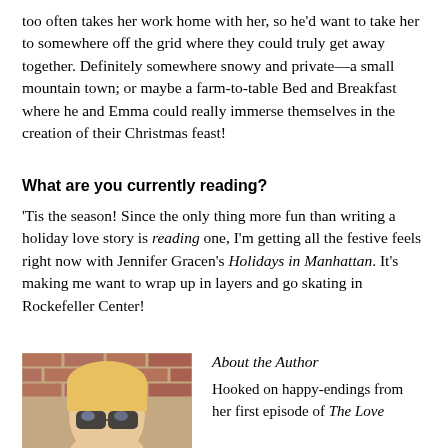too often takes her work home with her, so he'd want to take her to somewhere off the grid where they could truly get away together. Definitely somewhere snowy and private—a small mountain town; or maybe a farm-to-table Bed and Breakfast where he and Emma could really immerse themselves in the creation of their Christmas feast!
What are you currently reading?
'Tis the season! Since the only thing more fun than writing a holiday love story is reading one, I'm getting all the festive feels right now with Jennifer Gracen's Holidays in Manhattan. It's making me want to wrap up in layers and go skating in Rockefeller Center!
[Figure (photo): Photo of a woman with blonde hair wearing sunglasses, in front of a brick wall.]
About the Author
Hooked on happy-endings from her first episode of The Love